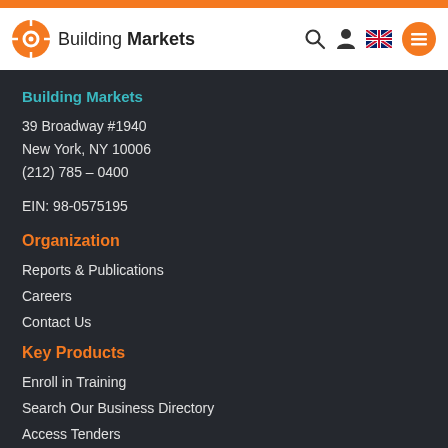Building Markets
Building Markets
39 Broadway #1940
New York, NY 10006
(212) 785 – 0400
EIN: 98-0575195
Organization
Reports & Publications
Careers
Contact Us
Key Products
Enroll in Training
Search Our Business Directory
Access Tenders